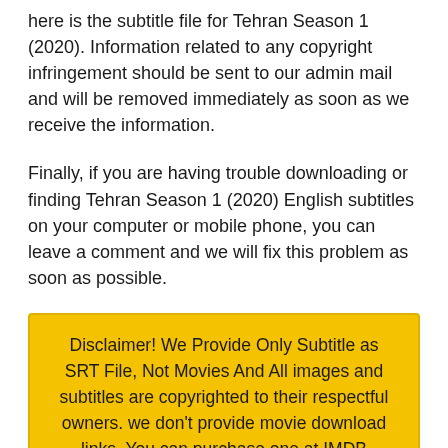here is the subtitle file for Tehran Season 1 (2020). Information related to any copyright infringement should be sent to our admin mail and will be removed immediately as soon as we receive the information.
Finally, if you are having trouble downloading or finding Tehran Season 1 (2020) English subtitles on your computer or mobile phone, you can leave a comment and we will fix this problem as soon as possible.
Disclaimer! We Provide Only Subtitle as SRT File, Not Movies And All images and subtitles are copyrighted to their respectful owners. we don’t provide movie download links, You can purchase one at IMDB